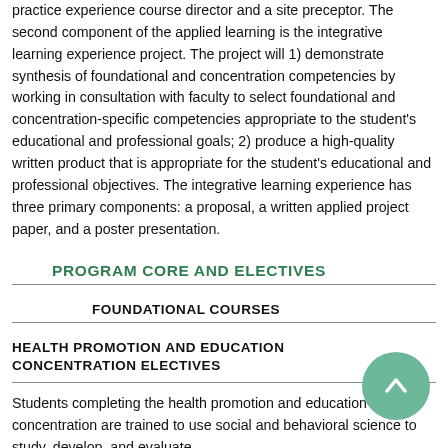practice experience course director and a site preceptor. The second component of the applied learning is the integrative learning experience project. The project will 1) demonstrate synthesis of foundational and concentration competencies by working in consultation with faculty to select foundational and concentration-specific competencies appropriate to the student's educational and professional goals; 2) produce a high-quality written product that is appropriate for the student's educational and professional objectives. The integrative learning experience has three primary components: a proposal, a written applied project paper, and a poster presentation.
PROGRAM CORE AND ELECTIVES
FOUNDATIONAL COURSES
HEALTH PROMOTION AND EDUCATION CONCENTRATION ELECTIVES
Students completing the health promotion and education concentration are trained to use social and behavioral science to study, develop, and evaluate